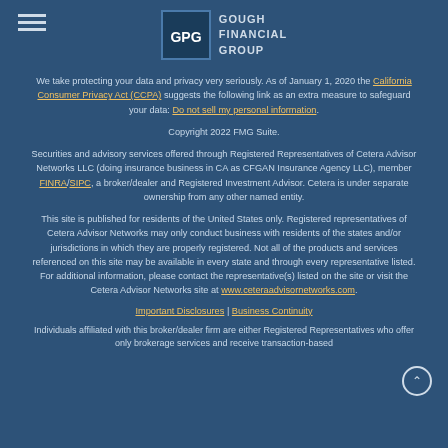GOUGH FINANCIAL GROUP
We take protecting your data and privacy very seriously. As of January 1, 2020 the California Consumer Privacy Act (CCPA) suggests the following link as an extra measure to safeguard your data: Do not sell my personal information.
Copyright 2022 FMG Suite.
Securities and advisory services offered through Registered Representatives of Cetera Advisor Networks LLC (doing insurance business in CA as CFGAN Insurance Agency LLC), member FINRA/SIPC, a broker/dealer and Registered Investment Advisor. Cetera is under separate ownership from any other named entity.
This site is published for residents of the United States only. Registered representatives of Cetera Advisor Networks may only conduct business with residents of the states and/or jurisdictions in which they are properly registered. Not all of the products and services referenced on this site may be available in every state and through every representative listed. For additional information, please contact the representative(s) listed on the site or visit the Cetera Advisor Networks site at www.ceteraadvisornetworks.com.
Important Disclosures | Business Continuity
Individuals affiliated with this broker/dealer firm are either Registered Representatives who offer only brokerage services and receive transaction-based